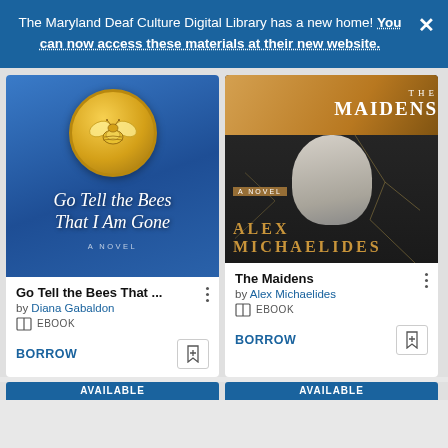The Maryland Deaf Culture Digital Library has a new home! You can now access these materials at their new website.
[Figure (illustration): Book cover for 'Go Tell the Bees That I Am Gone' by Diana Gabaldon — blue background with golden bee medallion and italic script title]
Go Tell the Bees That ...
by Diana Gabaldon
EBOOK
BORROW
[Figure (illustration): Book cover for 'The Maidens' by Alex Michaelides — dark cover with classical statue face, cracked mosaic effect, and golden author name]
The Maidens
by Alex Michaelides
EBOOK
BORROW